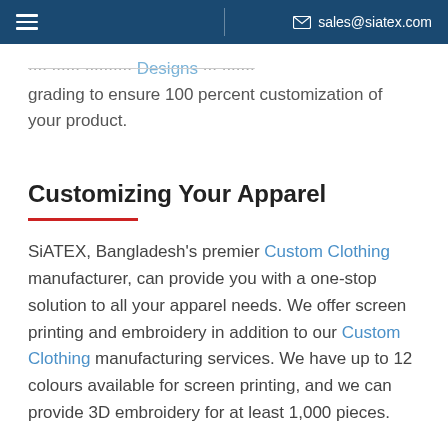sales@siatex.com
...can create customized Designs and conduct grading to ensure 100 percent customization of your product.
Customizing Your Apparel
SiATEX, Bangladesh's premier Custom Clothing manufacturer, can provide you with a one-stop solution to all your apparel needs. We offer screen printing and embroidery in addition to our Custom Clothing manufacturing services. We have up to 12 colours available for screen printing, and we can provide 3D embroidery for at least 1,000 pieces.